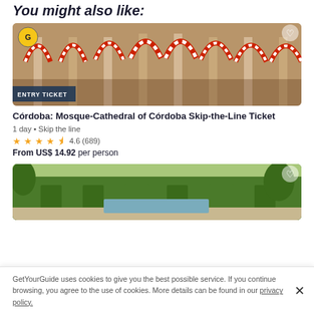You might also like:
[Figure (photo): Interior of Mosque-Cathedral of Córdoba showing red and white striped arches and columns]
ENTRY TICKET
Córdoba: Mosque-Cathedral of Córdoba Skip-the-Line Ticket
1 day • Skip the line
4.6 (689)
From US$ 14.92 per person
[Figure (photo): Garden courtyard with symmetrical hedges, fountains and orange trees]
GetYourGuide uses cookies to give you the best possible service. If you continue browsing, you agree to the use of cookies. More details can be found in our privacy policy.